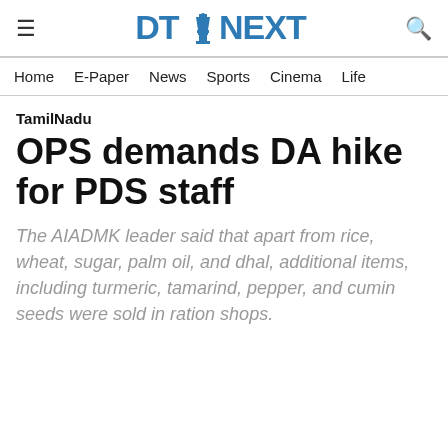DT NEXT
Home   E-Paper   News   Sports   Cinema   Life
TamilNadu
OPS demands DA hike for PDS staff
The AIADMK leader said that apart from rice, wheat, sugar, palm oil, and dhal, additional items, including turmeric, tamarind, pepper, and cumin seeds were sold in ration shops.